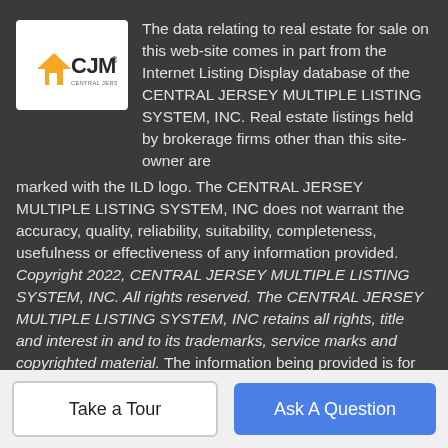[Figure (logo): CJMLS (Central Jersey Multiple Listing System) logo — white background box with house icon in orange/yellow and CJMLS text in dark]
The data relating to real estate for sale on this web-site comes in part from the Internet Listing Display database of the CENTRAL JERSEY MULTIPLE LISTING SYSTEM, INC. Real estate listings held by brokerage firms other than this site-owner are marked with the ILD logo. The CENTRAL JERSEY MULTIPLE LISTING SYSTEM, INC does not warrant the accuracy, quality, reliability, suitability, completeness, usefulness or effectiveness of any information provided. Copyright 2022, CENTRAL JERSEY MULTIPLE LISTING SYSTEM, INC. All rights reserved. The CENTRAL JERSEY MULTIPLE LISTING SYSTEM, INC retains all rights, title and interest in and to its trademarks, service marks and copyrighted material. The information being provided is for consumers' personal, non-commercial use and may not be used for any purpose other than to identify properties the consumer may be interested in purchasing or renting. Data last updated: 2022-09-08T08:07:52.847.
Take a Tour
Ask A Question